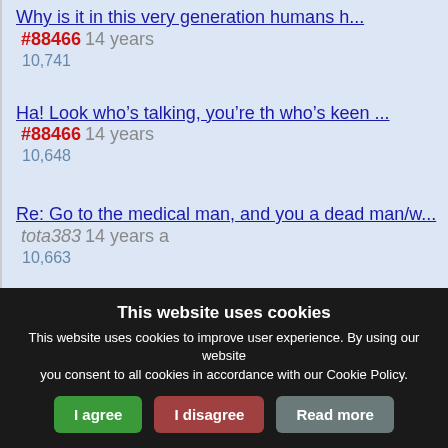Why is it in this very generation humans h... #88466 14 years
10,741
Ha! Look who's talking, you're the who's keen ... #88466 14 years
10,648
Re: Go to the medical man, and you a dead man/w... tota383 14 years a
10,663
This website uses cookies
This website uses cookies to improve user experience. By using our website you consent to all cookies in accordance with our Cookie Policy.
I agree | I disagree | Read more